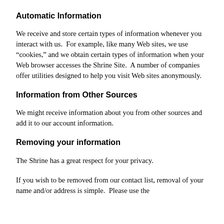Automatic Information
We receive and store certain types of information whenever you interact with us.  For example, like many Web sites, we use “cookies,” and we obtain certain types of information when your Web browser accesses the Shrine Site.  A number of companies offer utilities designed to help you visit Web sites anonymously.
Information from Other Sources
We might receive information about you from other sources and add it to our account information.
Removing your information
The Shrine has a great respect for your privacy.
If you wish to be removed from our contact list, removal of your name and/or address is simple.  Please use the